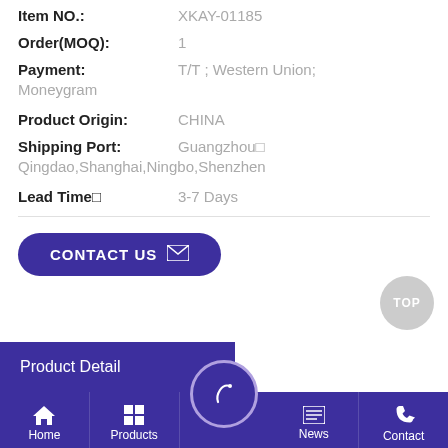Item NO.: XKAY-01185
Order(MOQ): 1
Payment: T/T ; Western Union; Moneygram
Product Origin: CHINA
Shipping Port: Guangzhou□ Qingdao,Shanghai,Ningbo,Shenzhen
Lead Time□ 3-7 Days
CONTACT US
TOP
Product Detail
Home | Products | (center icon) | News | Contact